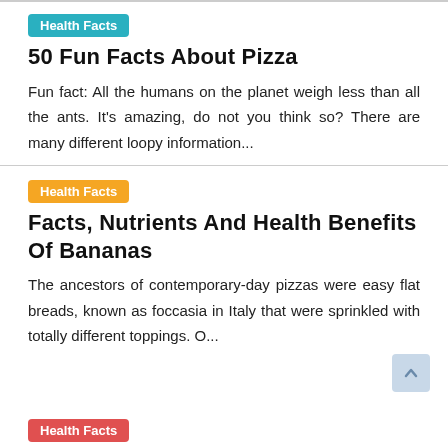Health Facts
50 Fun Facts About Pizza
Fun fact: All the humans on the planet weigh less than all the ants. It's amazing, do not you think so? There are many different loopy information...
Health Facts
Facts, Nutrients And Health Benefits Of Bananas
The ancestors of contemporary-day pizzas were easy flat breads, known as foccasia in Italy that were sprinkled with totally different toppings. O...
Health Facts